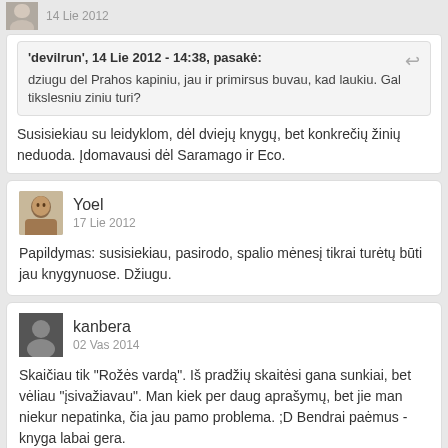[Figure (photo): Small avatar photo partially visible at top]
14 Lie 2012
'devilrun', 14 Lie 2012 - 14:38, pasakė:
dziugu del Prahos kapiniu, jau ir primirsus buvau, kad laukiu. Gal tikslesniu ziniu turi?
Susisiekiau su leidyklom, dėl dviejų knygų, bet konkrečių žinių neduoda. Įdomavausi dėl Saramago ir Eco.
Yoel
17 Lie 2012
Papildymas: susisiekiau, pasirodo, spalio mėnesį tikrai turėtų būti jau knygynuose. Džiugu.
kanbera
02 Vas 2014
Skaičiau tik "Rožės vardą". Iš pradžių skaitėsi gana sunkiai, bet vėliau "įsivažiavau". Man kiek per daug aprašymų, bet jie man niekur nepatinka, čia jau pamo problema. ;D Bendrai paėmus - knyga labai gera.